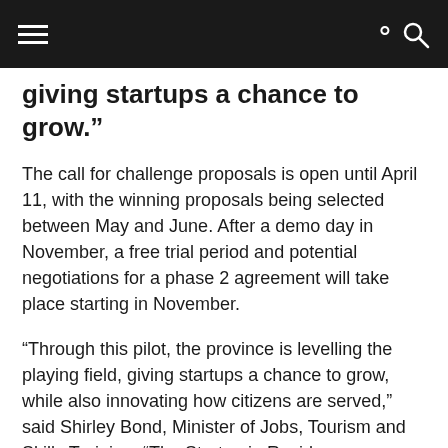[hamburger menu] [search icon]
giving startups a chance to grow.”
The call for challenge proposals is open until April 11, with the winning proposals being selected between May and June. After a demo day in November, a free trial period and potential negotiations for a phase 2 agreement will take place starting in November.
“Through this pilot, the province is levelling the playing field, giving startups a chance to grow, while also innovating how citizens are served,” said Shirley Bond, Minister of Jobs, Tourism and Skills Training. “The Startup in Residence